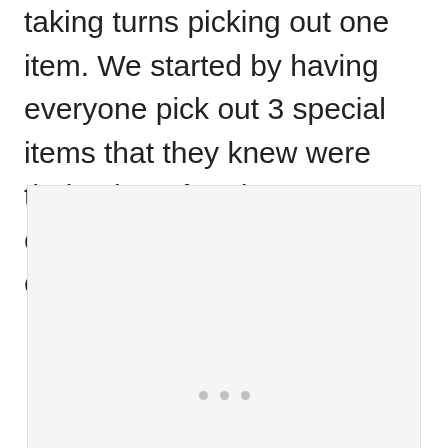taking turns picking out one item. We started by having everyone pick out 3 special items that they knew were theirs, but after that everything was open to everybody.
[Figure (photo): A large light gray rectangular image placeholder with three small gray dots near the bottom center, indicating an image carousel or loading placeholder.]